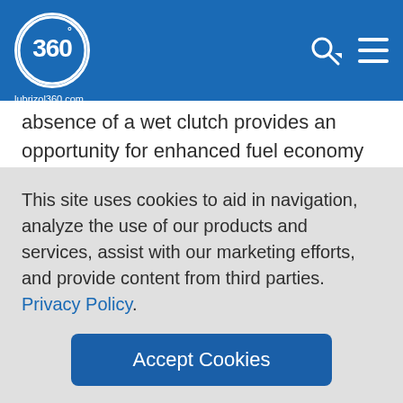lubrizol360.com
absence of a wet clutch provides an opportunity for enhanced fuel economy through proper formulation.
Along with the changes indicated above, newer and more advanced technologies are already available or expected to be deployed in 4-stroke motorcycles and scooters in the future. These include sequential manual
This site uses cookies to aid in navigation, analyze the use of our products and services, assist with our marketing efforts, and provide content from third parties. Privacy Policy.
Accept Cookies